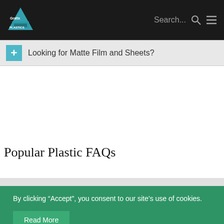Search... [search icon] [menu icon]
+ Looking for Matte Film and Sheets?
Popular Plastic FAQs
By clicking “Accept”, you consent to our site’s use of cookies.
Read More
My preferences
ACCEPT